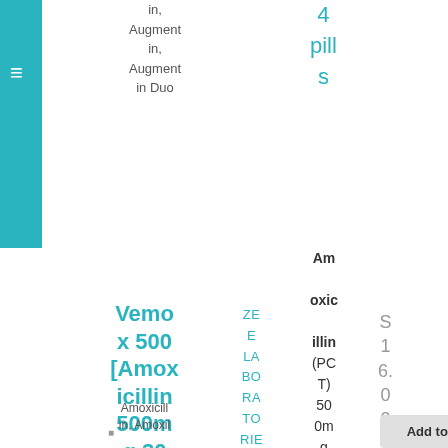in, Augment in, Augment in Duo
4 pills
Vemox 500 [Amoxicillin 500mg 30 pills]
Amoxicillin, Amoxil
ZEE LA BO RA TO RIES
Amoxicillin (PCT) 500mg 30 pills
$ 16.00
Add to cart